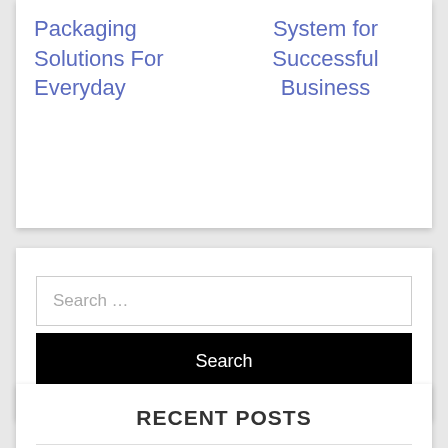Packaging Solutions For Everyday
System for Successful Business
Search ...
Search
RECENT POSTS
The Different Reasons For Watching Football Live Streaming TV